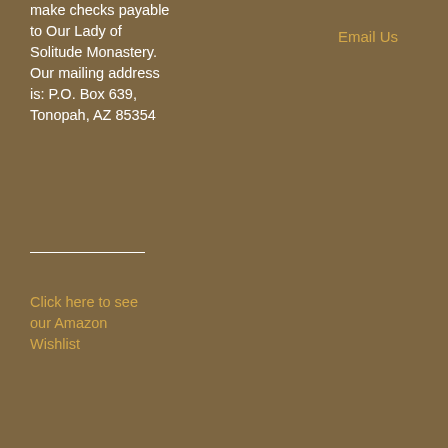make checks payable to Our Lady of Solitude Monastery. Our mailing address is: P.O. Box 639, Tonopah, AZ 85354
Email Us
Click here to see our Amazon Wishlist